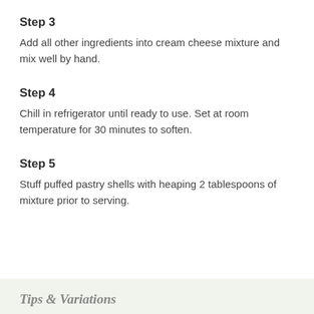Step 3
Add all other ingredients into cream cheese mixture and mix well by hand.
Step 4
Chill in refrigerator until ready to use. Set at room temperature for 30 minutes to soften.
Step 5
Stuff puffed pastry shells with heaping 2 tablespoons of mixture prior to serving.
Tips & Variations